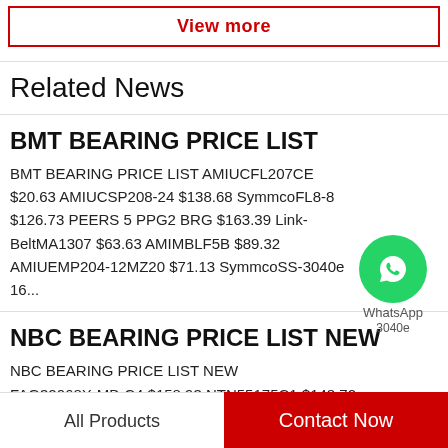View more
Related News
BMT BEARING PRICE LIST
BMT BEARING PRICE LIST AMIUCFL207CE $20.63 AMIUCSP208-24 $138.68 SymmcoFL8-8 $126.73 PEERS 5 PPG2 BRG $163.39 Link-BeltMA1307 $63.63 AMIMBLF5B $89.32 AMIUEMP204-12MZ20 $71.13 SymmcoSS-3040e 16...
NBC BEARING PRICE LIST NEW
NBC BEARING PRICE LIST NEW
All Products   Contact Now